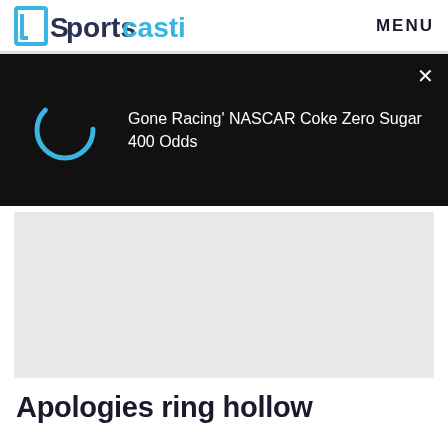Sportscasting | MENU
[Figure (screenshot): Dark video player strip with loading spinner (teal arc) on the left and text 'Gone Racing' NASCAR Coke Zero Sugar 400 Odds' on right, with close X button]
[Figure (photo): Light gray image placeholder rectangle]
Apologies ring hollow